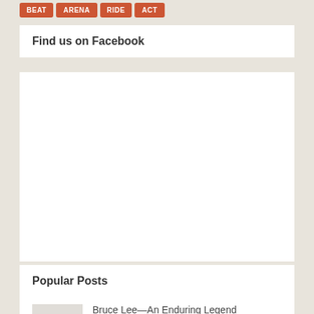[Figure (other): Row of orange/red buttons with white text labels (partially visible at top)]
Find us on Facebook
[Figure (other): Facebook widget embed area (blank white space)]
Popular Posts
[Figure (other): No Preview thumbnail placeholder image]
Bruce Lee—An Enduring Legend
29 Comments